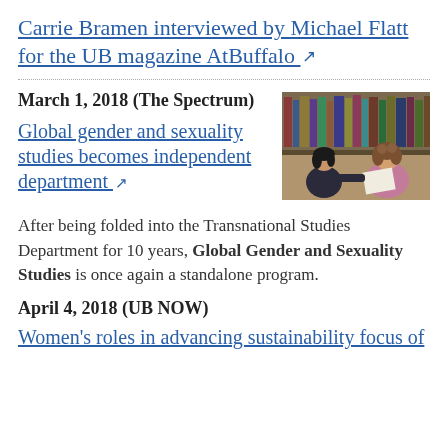Carrie Bramen interviewed by Michael Flatt for the UB magazine AtBuffalo ↗
March 1, 2018 (The Spectrum)
Global gender and sexuality studies becomes independent department ↗
[Figure (photo): Two women sitting in a library, one with dark hair in a patterned top writing, the other with curly hair in a pink sweater holding papers.]
After being folded into the Transnational Studies Department for 10 years, Global Gender and Sexuality Studies is once again a standalone program.
April 4, 2018 (UB NOW)
Women's roles in advancing sustainability focus of